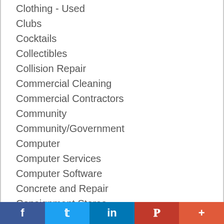Clothing - Used
Clubs
Cocktails
Collectibles
Collision Repair
Commercial Cleaning
Commercial Contractors
Community
Community/Government
Computer
Computer Services
Computer Software
Concrete and Repair
Consignment Stores